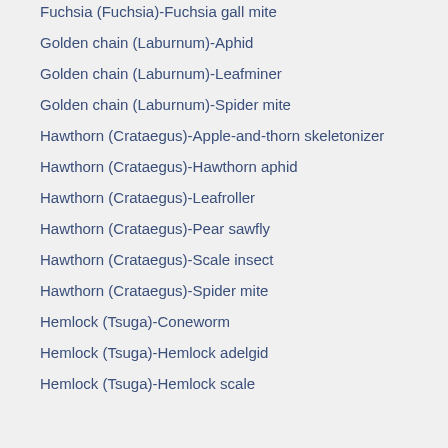Fuchsia (Fuchsia)-Fuchsia gall mite
Golden chain (Laburnum)-Aphid
Golden chain (Laburnum)-Leafminer
Golden chain (Laburnum)-Spider mite
Hawthorn (Crataegus)-Apple-and-thorn skeletonizer
Hawthorn (Crataegus)-Hawthorn aphid
Hawthorn (Crataegus)-Leafroller
Hawthorn (Crataegus)-Pear sawfly
Hawthorn (Crataegus)-Scale insect
Hawthorn (Crataegus)-Spider mite
Hemlock (Tsuga)-Coneworm
Hemlock (Tsuga)-Hemlock adelgid
Hemlock (Tsuga)-Hemlock scale